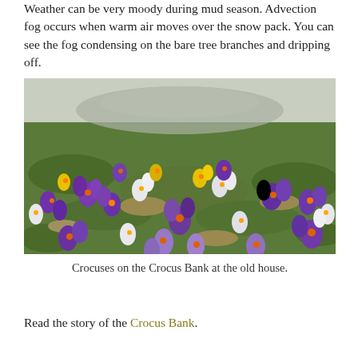Weather can be very moody during mud season. Advection fog occurs when warm air moves over the snow pack. You can see the fog condensing on the bare tree branches and dripping off.
[Figure (photo): A field of purple, white, and yellow crocus flowers blooming on a grassy bank, with a gravel road or path visible in the background.]
Crocuses on the Crocus Bank at the old house.
Read the story of the Crocus Bank.